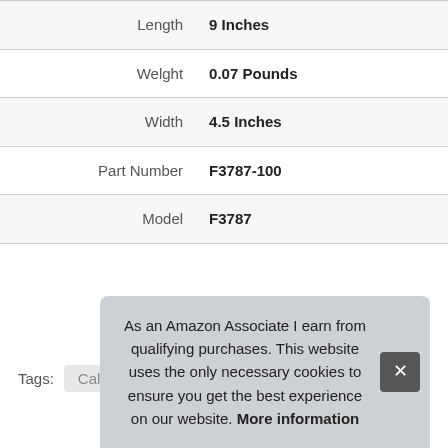| Attribute | Value |
| --- | --- |
| Length | 9 Inches |
| Welght | 0.07 Pounds |
| Width | 4.5 Inches |
| Part Number | F3787-100 |
| Model | F3787 |
More information #ad
Tags: Calvin Klein
As an Amazon Associate I earn from qualifying purchases. This website uses the only necessary cookies to ensure you get the best experience on our website. More information